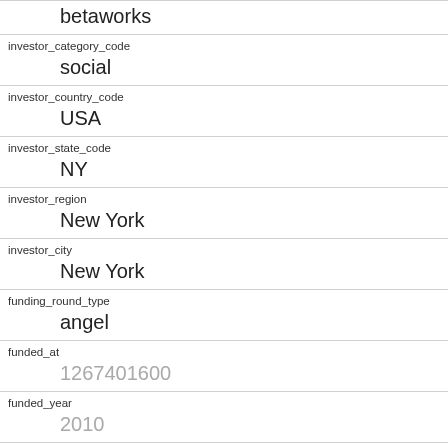betaworks
investor_category_code
social
investor_country_code
USA
investor_state_code
NY
investor_region
New York
investor_city
New York
funding_round_type
angel
funded_at
1267401600
funded_year
2010
raised_amount_usd
gristHelper_Display2